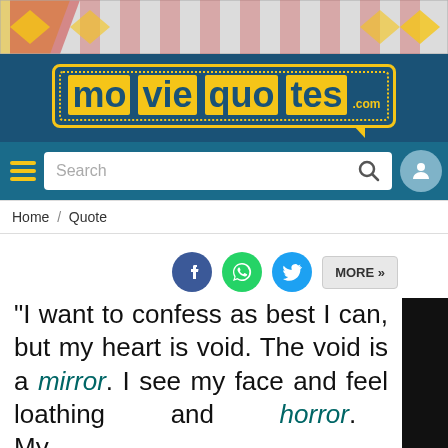[Figure (screenshot): moviequotes.com website screenshot with logo, search bar, breadcrumb navigation, social share buttons, and a movie quote text]
moviequotes.com logo
Search
Home / Quote
MORE »
“I want to confess as best I can, but my heart is void. The void is a mirror. I see my face and feel loathing and horror. My difference to men has shut me